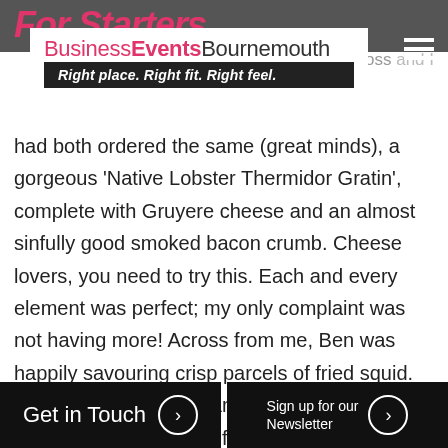For Starters
[Figure (logo): BusinessEventsBournemouth logo with tagline 'Right place. Right fit. Right feel.']
...starters arrived. Ross and I had both ordered the same (great minds), a gorgeous 'Native Lobster Thermidor Gratin', complete with Gruyere cheese and an almost sinfully good smoked bacon crumb. Cheese lovers, you need to try this. Each and every element was perfect; my only complaint was not having more! Across from me, Ben was happily savouring crisp parcels of fried squid. As he was unable to park his crockery I took it to be a resounding yes from him. The rest of team had decided to save themselves for the main event, a smart move considering two of them would be sharing the signature
Get in Touch
Sign up for our Newsletter